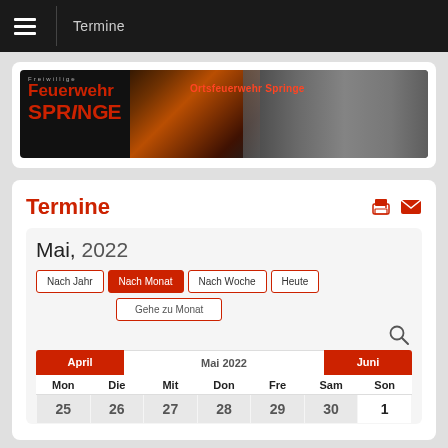Termine
[Figure (photo): Freiwillige Feuerwehr Springe / Ortsfeuerwehr Springe banner with fire and group photos]
Termine
Mai, 2022
Nach Jahr
Nach Monat
Nach Woche
Heute
Gehe zu Monat
| Mon | Die | Mit | Don | Fre | Sam | Son |
| --- | --- | --- | --- | --- | --- | --- |
| 25 | 26 | 27 | 28 | 29 | 30 | 1 |